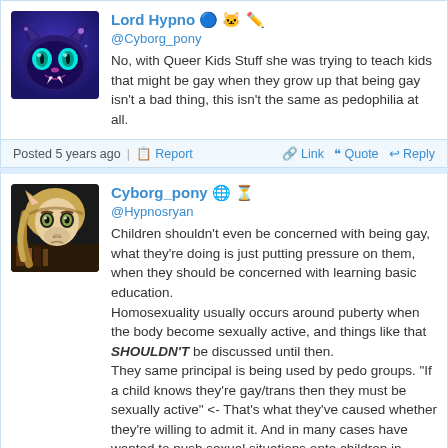Lord Hypno @Cyborg_pony
No, with Queer Kids Stuff she was trying to teach kids that might be gay when they grow up that being gay isn't a bad thing, this isn't the same as pedophilia at all.
Posted 5 years ago | Report | Link | Quote | Reply
Cyborg_pony @Hypnosryan
Children shouldn't even be concerned with being gay, what they're doing is just putting pressure on them, when they should be concerned with learning basic education.
Homosexuality usually occurs around puberty when the body become sexually active, and things like that SHOULDN'T be discussed until then.
They same principal is being used by pedo groups. "If a child knows they're gay/trans then they must be sexually active" <- That's what they've caused whether they're willing to admit it. And in many cases have wanted to push sexual situations onto children in